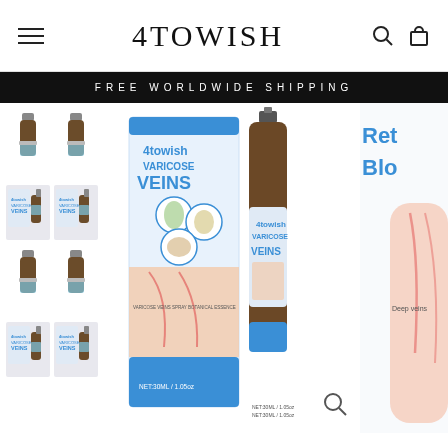4TOWISH
FREE WORLDWIDE SHIPPING
[Figure (photo): E-commerce product page screenshot for 4towish Varicose Veins spray (30ml / 1.05oz). Shows navigation header with hamburger menu, 4TOWISH logo, search and cart icons. Black banner with FREE WORLDWIDE SHIPPING. Product area shows thumbnail images of bottle sets on the left, a center hero image of the product box and spray bottle, and a partial right panel with text 'Ret... Blo...' (Restore Blood) and a leg illustration showing deep veins.]